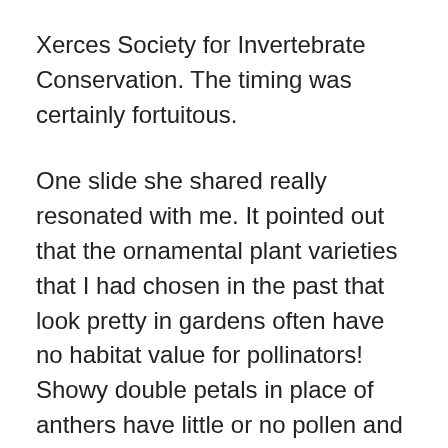Xerces Society for Invertebrate Conservation. The timing was certainly fortuitous.
One slide she shared really resonated with me. It pointed out that the ornamental plant varieties that I had chosen in the past that look pretty in gardens often have no habitat value for pollinators! Showy double petals in place of anthers have little or no pollen and nectar is inaccessible.
Yikes. Ornamentals are what I had